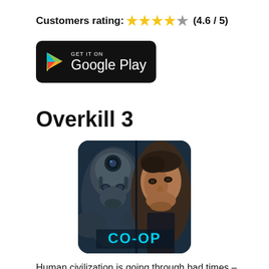Customers rating: ★★★★☆ (4.6 / 5)
[Figure (logo): Google Play badge — black rounded rectangle with GET IT ON text above Google Play, with the Google Play triangle logo on the left]
Overkill 3
[Figure (photo): Overkill 3 game icon showing two armored warrior faces side by side with CO-OP text at the bottom, dark sci-fi style]
Human civilization is going through bad times – large cities are captured by robots and participants of the "grouping", resources and